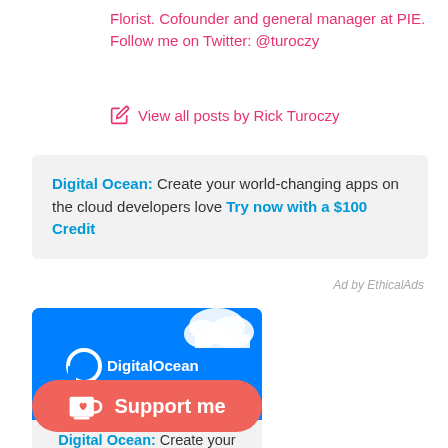Florist. Cofounder and general manager at PIE. Follow me on Twitter: @turoczy
View all posts by Rick Turoczy
Digital Ocean: Create your world-changing apps on the cloud developers love Try now with a $100 Credit
Ad by EthicalAds
[Figure (illustration): DigitalOcean advertisement card with blue background, white clouds, and DigitalOcean logo. Text: Digital Ocean: Create your world-changing...]
Support me